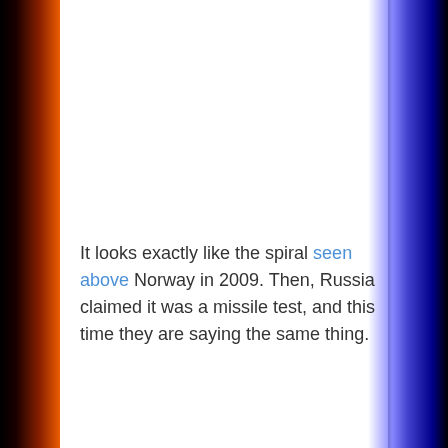It looks exactly like the spiral seen above Norway in 2009. Then, Russia claimed it was a missile test, and this time they are saying the same thing.